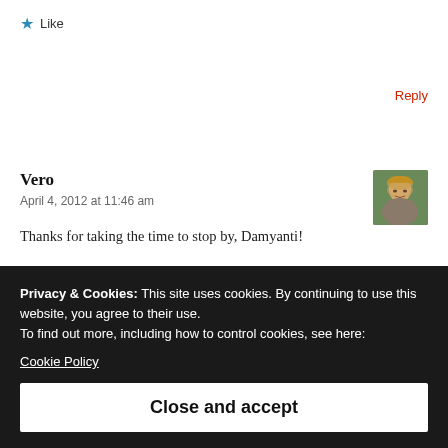★ Like
Reply
Vero
April 4, 2012 at 11:46 am
[Figure (photo): Small avatar photo of a blonde woman]
Thanks for taking the time to stop by, Damyanti!
Privacy & Cookies: This site uses cookies. By continuing to use this website, you agree to their use.
To find out more, including how to control cookies, see here:
Cookie Policy
Close and accept